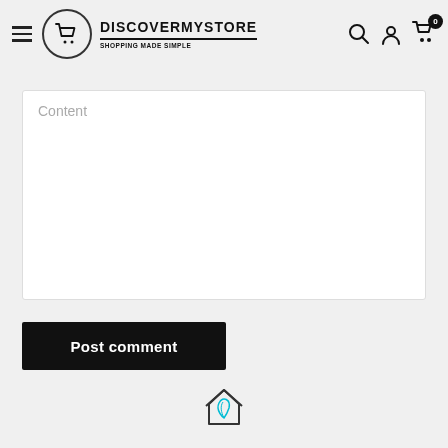DISCOVERMYSTORE — SHOPPING MADE SIMPLE
Content
Post comment
[Figure (logo): Leaf house icon at the bottom center of the page]